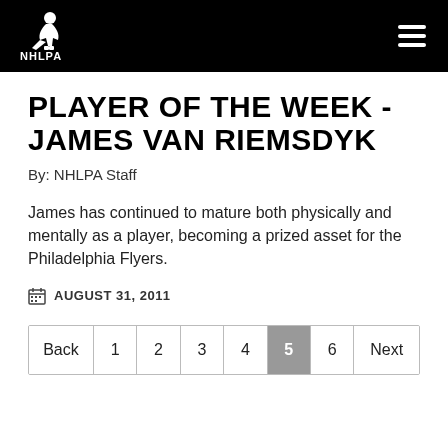NHLPA
PLAYER OF THE WEEK - JAMES VAN RIEMSDYK
By: NHLPA Staff
James has continued to mature both physically and mentally as a player, becoming a prized asset for the Philadelphia Flyers.
AUGUST 31, 2011